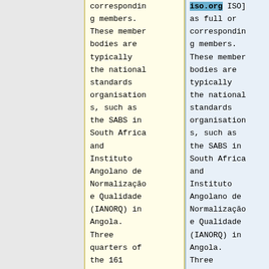corresponding members. These member bodies are typically the national standards organisations, such as the SABS in South Africa and Instituto Angolano de Normalização e Qualidade (IANORQ) in Angola. Three quarters of the 161 [http://www.
iso.org ISO] as full or corresponding members. These member bodies are typically the national standards organisations, such as the SABS in South Africa and Instituto Angolano de Normalização e Qualidade (IANORQ) in Angola. Three quarters of